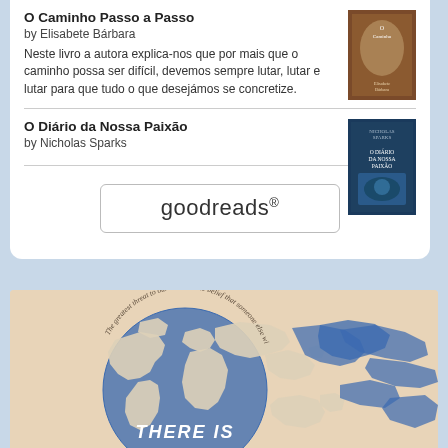O Caminho Passo a Passo
by Elisabete Bárbara
Neste livro a autora explica-nos que por mais que o caminho possa ser difícil, devemos sempre lutar, lutar e lutar para que tudo o que desejámos se concretize.
O Diário da Nossa Paixão
by Nicholas Sparks
[Figure (logo): goodreads logo button with rounded rectangle border]
[Figure (illustration): Watercolor-style world map globe illustration on beige background with text 'THERE IS' in white italic font and a curved quote about books around the globe]